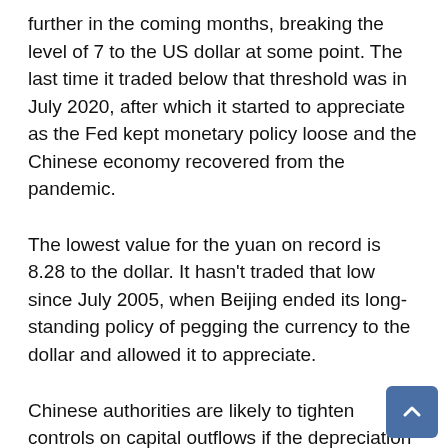further in the coming months, breaking the level of 7 to the US dollar at some point. The last time it traded below that threshold was in July 2020, after which it started to appreciate as the Fed kept monetary policy loose and the Chinese economy recovered from the pandemic.
The lowest value for the yuan on record is 8.28 to the dollar. It hasn't traded that low since July 2005, when Beijing ended its long-standing policy of pegging the currency to the dollar and allowed it to appreciate.
Chinese authorities are likely to tighten controls on capital outflows if the depreciation gets out of control, they said.